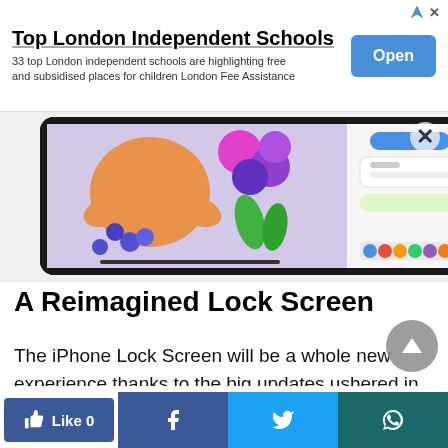[Figure (other): Advertisement banner for Top London Independent Schools with an Open button]
[Figure (screenshot): Screenshot of an iPad showing a colorful illustrated lock screen with flowers and fruit, alongside a messaging app interface]
A Reimagined Lock Screen
The iPhone Lock Screen will be a whole new experience thanks to the big updates ushered in by iOS 16. Your Lock Screen gets more personal and functional with the newest iteration of iOS. With a
[Figure (other): Social sharing bar with Like, Facebook, Twitter, and WhatsApp buttons]